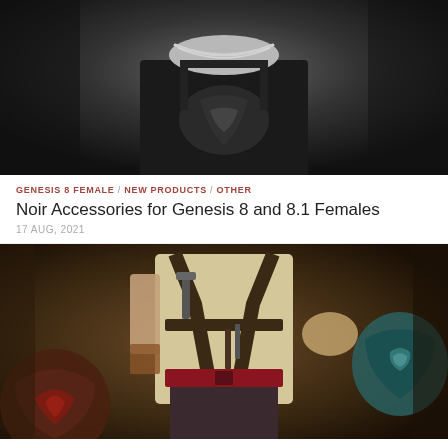[Figure (photo): Grayscale photo of a female figure wearing a black tank top with decorative design and a silver chain necklace, noir style]
GENESIS 8 FEMALE / NEW PRODUCTS / OTHER
Noir Accessories for Genesis 8 and 8.1 Females
17 AUG, 2021
[Figure (photo): Color photo of a male figure in fantasy/pirate style outfit with harness, multiple daggers/pistols, cream shirt and dark pants with red sash, holding weapons]
CLOTHING TEXTURES / DFORCE / GENESIS 8 MALE / NEW PRODUCTS